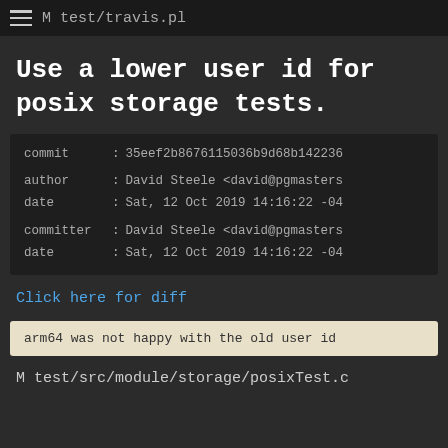M test/travis.pl
Use a lower user id for posix storage tests.
commit    : 35eef2b8676115036b9d68b142236
author    : David Steele <david@pgmasters
date      : Sat, 12 Oct 2019 14:16:22 -04
committer : David Steele <david@pgmasters
date      : Sat, 12 Oct 2019 14:16:22 -04
Click here for diff
arm64 was not happy with the old user id
M test/src/module/storage/posixTest.c